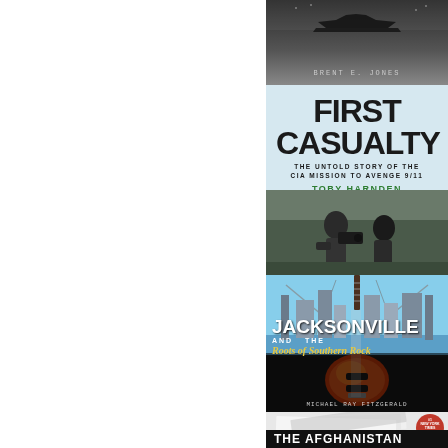[Figure (photo): Partial book cover: dark naval/war scene with author name BRENT E. JONES at bottom]
[Figure (photo): Book cover: 'First Casualty - The Untold Story of the CIA Mission to Avenge 9/11' by Toby Harnden. Light blue background with bold title text and photo of two men examining something.]
[Figure (photo): Book cover: 'Jacksonville and the Roots of Southern Rock' by Michael Ray Fitzgerald. City skyline with guitar graphic.]
[Figure (photo): Partial book cover: 'The Afghanistan' with NY Times bestseller badge, layered paper/document background.]